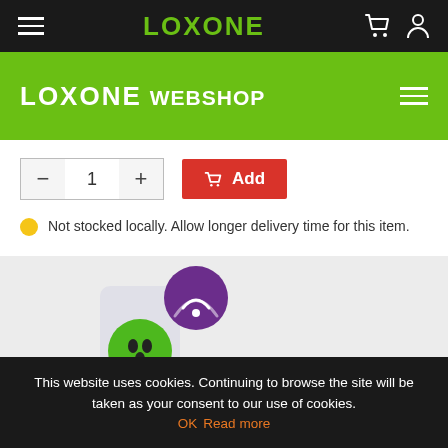LOXONE
LOXONE WEBSHOP
1
Add
Not stocked locally. Allow longer delivery time for this item.
[Figure (photo): Smart plug device with green UK socket and purple WiFi badge, on a gray background]
This website uses cookies. Continuing to browse the site will be taken as your consent to our use of cookies. OK  Read more